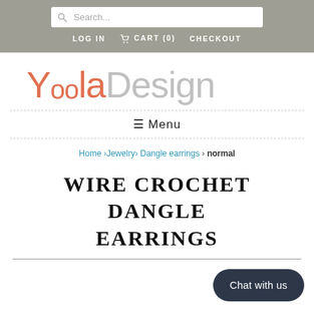Search... LOG IN CART (0) CHECKOUT
[Figure (logo): YoolaDesign logo with orange 'Yoola' and grey 'Design' text]
≡ Menu
Home › Jewelry › Dangle earrings › normal
WIRE CROCHET DANGLE EARRINGS
Chat with us